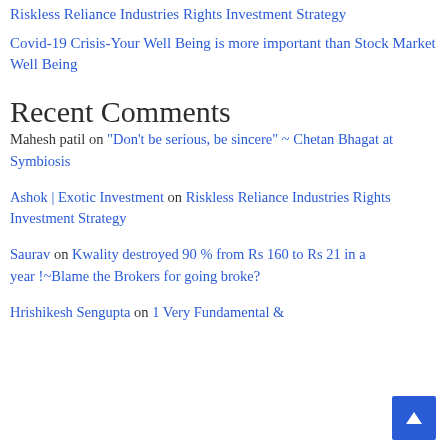Riskless Reliance Industries Rights Investment Strategy
Covid-19 Crisis-Your Well Being is more important than Stock Market Well Being
Recent Comments
Mahesh patil on “Don’t be serious, be sincere” ~ Chetan Bhagat at Symbiosis
Ashok | Exotic Investment on Riskless Reliance Industries Rights Investment Strategy
Saurav on Kwality destroyed 90 % from Rs 160 to Rs 21 in a year !~Blame the Brokers for going broke?
Hrishikesh Sengupta on 1 Very Fundamental &